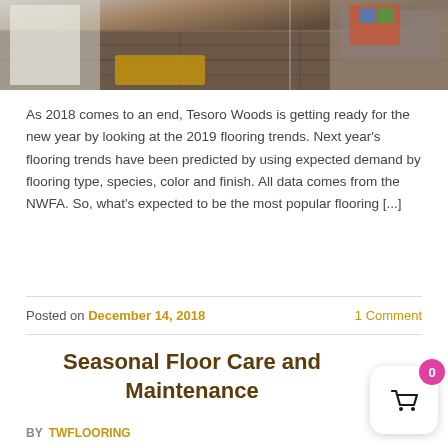[Figure (photo): Interior room photo showing hardwood/vinyl plank flooring in dark wood tones, with a door, an orange/gold mat, and a couch with colorful pillow visible]
As 2018 comes to an end, Tesoro Woods is getting ready for the new year by looking at the 2019 flooring trends. Next year's flooring trends have been predicted by using expected demand by flooring type, species, color and finish. All data comes from the NWFA. So, what's expected to be the most popular flooring [...]
Posted on December 14, 2018   1 Comment
Seasonal Floor Care and Maintenance
BY TWFLOORING